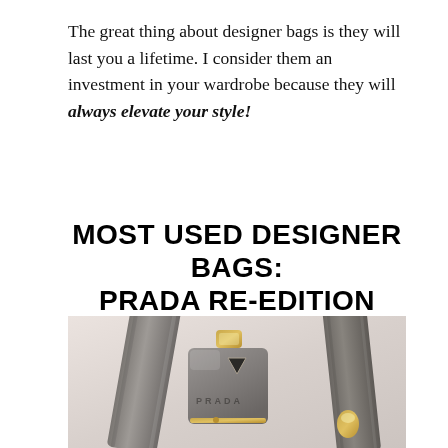The great thing about designer bags is they will last you a lifetime. I consider them an investment in your wardrobe because they will always elevate your style!
MOST USED DESIGNER BAGS: PRADA RE-EDITION 2005
[Figure (photo): Photo of a grey Prada Re-Edition 2005 mini bag with gold hardware and branded strap on a light background]